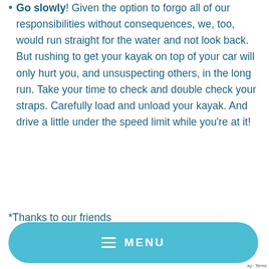Go slowly! Given the option to forgo all of our responsibilities without consequences, we, too, would run straight for the water and not look back. But rushing to get your kayak on top of your car will only hurt you, and unsuspecting others, in the long run. Take your time to check and double check your straps. Carefully load and unload your kayak. And drive a little under the speed limit while you're at it!
*Thanks to our friends